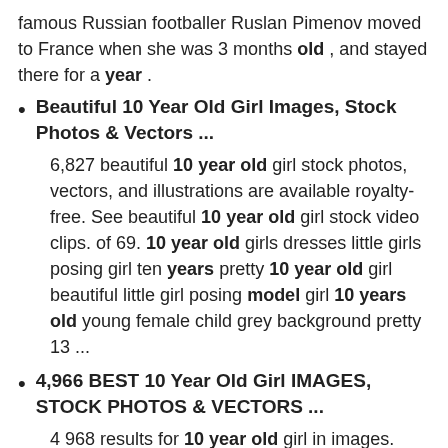famous Russian footballer Ruslan Pimenov moved to France when she was 3 months old , and stayed there for a year .
Beautiful 10 Year Old Girl Images, Stock Photos & Vectors ...
6,827 beautiful 10 year old girl stock photos, vectors, and illustrations are available royalty-free. See beautiful 10 year old girl stock video clips. of 69. 10 year old girls dresses little girls posing girl ten years pretty 10 year old girl beautiful little girl posing model girl 10 years old young female child grey background pretty 13 ...
4,966 BEST 10 Year Old Girl IMAGES, STOCK PHOTOS & VECTORS ...
4 968 results for 10 year old girl in images. OK. OK. OK. Choose your region. Selecting a region may change the language and promotional content you see on the Adobe Stock web site. North America. Canada - English. Canada - Français